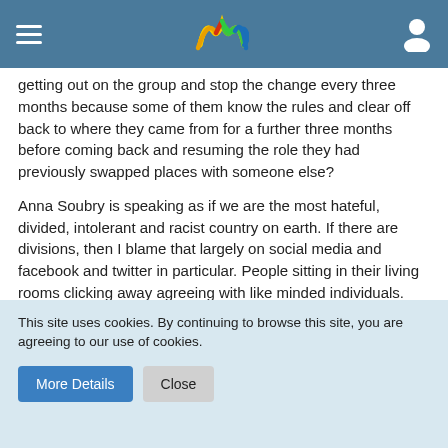Navigation bar with hamburger menu, logo, and user icon
getting out on the group and stop the change every three months because some of them know the rules and clear off back to where they came from for a further three months before coming back and resuming the role they had previously swapped places with someone else?
Anna Soubry is speaking as if we are the most hateful, divided, intolerant and racist country on earth. If there are divisions, then I blame that largely on social media and facebook and twitter in particular. People sitting in their living rooms clicking away agreeing with like minded individuals. Wrongly believing that the whole world shares their view. When they discover that most people have their own view, and often one they don't agree with, they can't handle it. Hence why all the labels and names have been attached to so many people in recent years. And then Soubry pops up and tells us all to be good little
This site uses cookies. By continuing to browse this site, you are agreeing to our use of cookies.